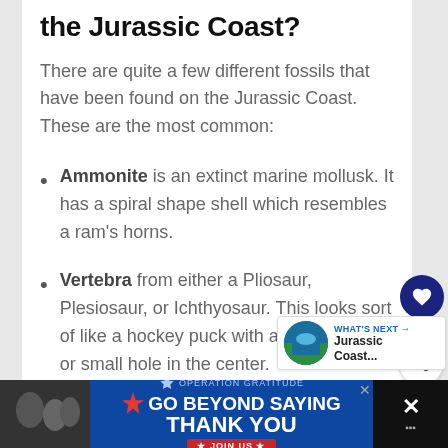the Jurassic Coast?
There are quite a few different fossils that have been found on the Jurassic Coast.  These are the most common:
Ammonite is an extinct marine mollusk.  It has a spiral shape shell which resembles a ram's horns.
Vertebra from either a Pliosaur, Plesiosaur, or Ichthyosaur.  This looks sort of like a hockey puck with an indentation or small hole in the center.
[Figure (photo): Advertisement banner: GO BEYOND SAYING THANK YOU - Operation Gratitude - JOIN US]
[Figure (infographic): What's Next promo card for Jurassic Coast article with circular thumbnail image]